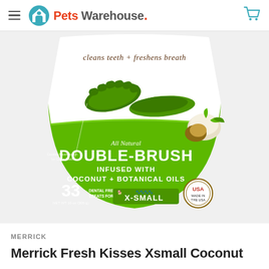Pets Warehouse
[Figure (photo): Merrick Fresh Kisses Double-Brush dental treats for dogs, X-Small, infused with Coconut + Botanical Oils, 33 count, All Natural, green bag with dog treats shown]
MERRICK
Merrick Fresh Kisses Xsmall Coconut